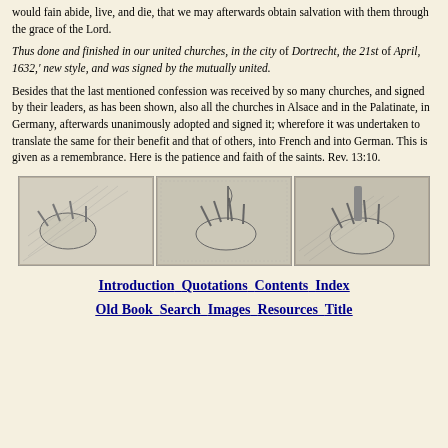would fain abide, live, and die, that we may afterwards obtain salvation with them through the grace of the Lord.
Thus done and finished in our united churches, in the city of Dortrecht, the 21st of April, 1632,' new style, and was signed by the mutually united.
Besides that the last mentioned confession was received by so many churches, and signed by their leaders, as has been shown, also all the churches in Alsace and in the Palatinate, in Germany, afterwards unanimously adopted and signed it; wherefore it was undertaken to translate the same for their benefit and that of others, into French and into German. This is given as a remembrance. Here is the patience and faith of the saints. Rev. 13:10.
[Figure (illustration): Three illustrations of hands side by side, appearing to depict handshakes or gestures, rendered in black and white engraving style.]
Introduction  Quotations  Contents  Index
Old Book  Search  Images  Resources  Title